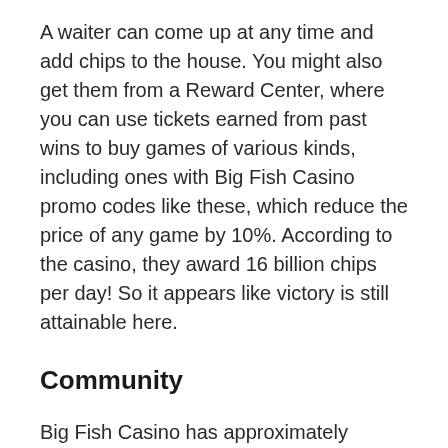A waiter can come up at any time and add chips to the house. You might also get them from a Reward Center, where you can use tickets earned from past wins to buy games of various kinds, including ones with Big Fish Casino promo codes like these, which reduce the price of any game by 10%. According to the casino, they award 16 billion chips per day! So it appears like victory is still attainable here.
Community
Big Fish Casino has approximately 900,000 Facebook likes at the time of writing. This reflects its strong feeling of community, where players may interact with one another by joining player clubs and exchanging well-earned